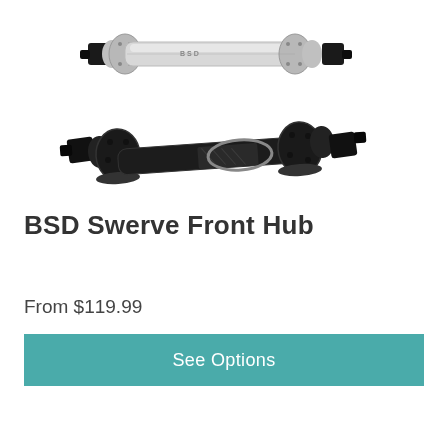[Figure (photo): Two BSD Swerve Front Hub bicycle hubs photographed on a white background. The top hub is silver/chrome colored, and the bottom hub is black with a carbon fiber pattern wrap in the middle.]
BSD Swerve Front Hub
From $119.99
See Options